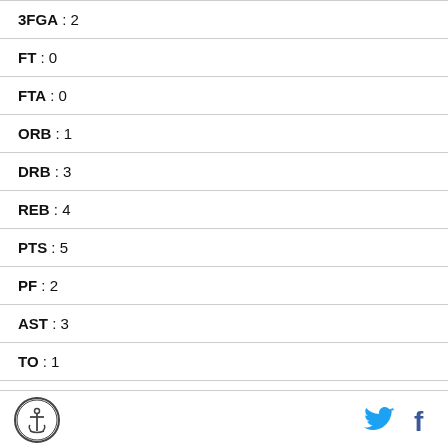| 3FGA | 2 |
| FT | 0 |
| FTA | 0 |
| ORB | 1 |
| DRB | 3 |
| REB | 4 |
| PTS | 5 |
| PF | 2 |
| AST | 3 |
| TO | 1 |
| BLK | 0 |
Logo | Twitter | Facebook